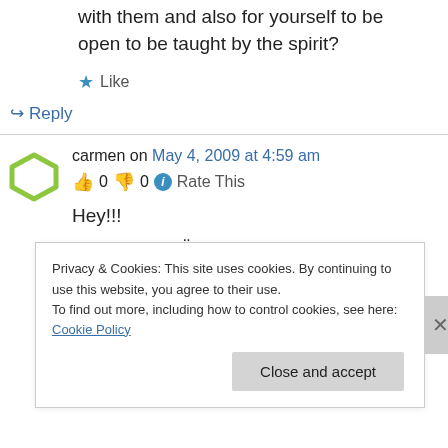with them and also for yourself to be open to be taught by the spirit?
★ Like
↪ Reply
carmen on May 4, 2009 at 4:59 am
👍 0 👎 0 ℹ Rate This
Hey!!!
was für eine Überraschung, haaa!!! Also wenn
Privacy & Cookies: This site uses cookies. By continuing to use this website, you agree to their use.
To find out more, including how to control cookies, see here: Cookie Policy
Close and accept